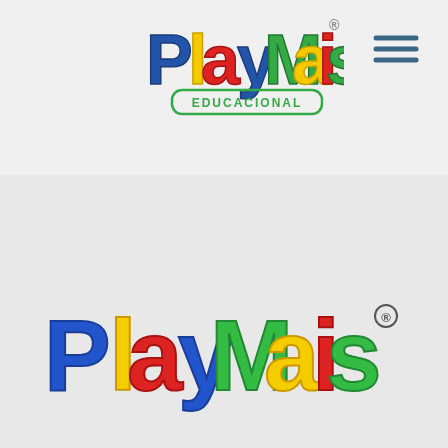[Figure (logo): PlayMais Educacional logo at top of page header - colorful bubble letters spelling PlayMais with EDUCACIONAL below in green rounded rectangle]
[Figure (illustration): Hamburger menu icon (three horizontal lines) in dark teal/blue color, top right of header]
[Figure (screenshot): Email input field with placeholder text 'Insira aqui seu e-mail' and green 'Enviar >' button on right side]
[Figure (logo): Large PlayMais logo in center-bottom of page - colorful bubble letters in blue, yellow, red and green with registered trademark symbol]